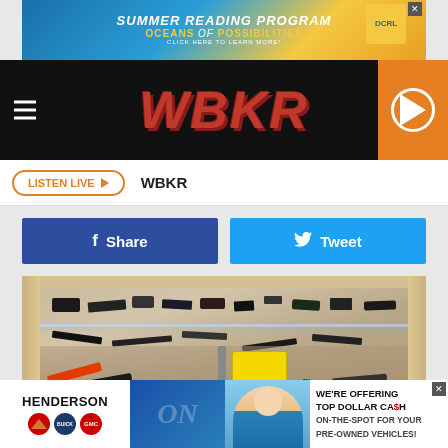[Figure (screenshot): WBKR radio station webpage screenshot showing a Summer Reading Program ad banner at top, WBKR logo navigation bar, Listen Live button, Facebook Share and Twitter Tweet buttons, a photo of a glass display case containing knives, and a Henderson automotive dealership ad at the bottom]
SUMMER READING PROGRAM OCEANS of POSSIBILITIES CLICK HERE TO LEARN MORE!
LISTEN LIVE ▶ WBKR
Share
Tweet
[Figure (photo): Glass display case filled with knives and bladed items on shelves and counter]
HENDERSON WE'RE OFFERING TOP DOLLAR CA$H ON-THE-SPOT FOR YOUR PRE-OWNED VEHICLES!